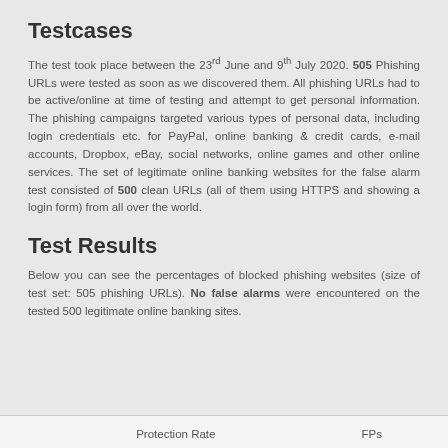Testcases
The test took place between the 23rd June and 9th July 2020. 505 Phishing URLs were tested as soon as we discovered them. All phishing URLs had to be active/online at time of testing and attempt to get personal information. The phishing campaigns targeted various types of personal data, including login credentials etc. for PayPal, online banking & credit cards, e-mail accounts, Dropbox, eBay, social networks, online games and other online services. The set of legitimate online banking websites for the false alarm test consisted of 500 clean URLs (all of them using HTTPS and showing a login form) from all over the world.
Test Results
Below you can see the percentages of blocked phishing websites (size of test set: 505 phishing URLs). No false alarms were encountered on the tested 500 legitimate online banking sites.
| Protection Rate | FPs |
| --- | --- |